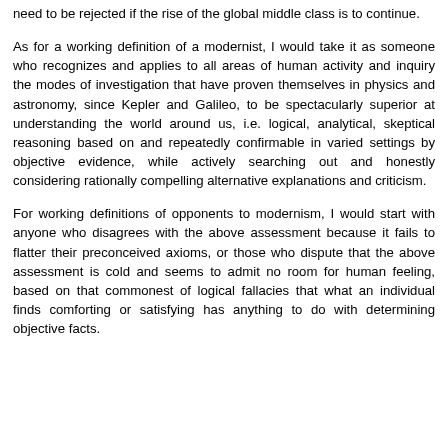need to be rejected if the rise of the global middle class is to continue.
As for a working definition of a modernist, I would take it as someone who recognizes and applies to all areas of human activity and inquiry the modes of investigation that have proven themselves in physics and astronomy, since Kepler and Galileo, to be spectacularly superior at understanding the world around us, i.e. logical, analytical, skeptical reasoning based on and repeatedly confirmable in varied settings by objective evidence, while actively searching out and honestly considering rationally compelling alternative explanations and criticism.
For working definitions of opponents to modernism, I would start with anyone who disagrees with the above assessment because it fails to flatter their preconceived axioms, or those who dispute that the above assessment is cold and seems to admit no room for human feeling, based on that commonest of logical fallacies that what an individual finds comforting or satisfying has anything to do with determining objective facts.